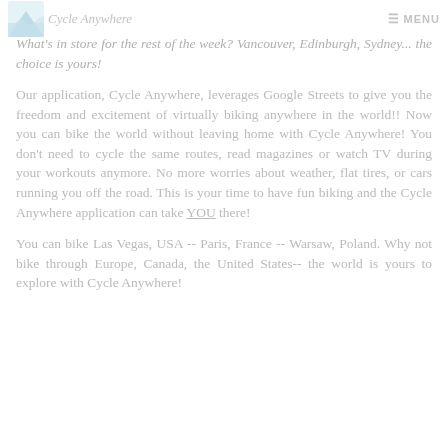Cycle Anywhere — MENU
What's in store for the rest of the week? Vancouver, Edinburgh, Sydney... the choice is yours!
Our application, Cycle Anywhere, leverages Google Streets to give you the freedom and excitement of virtually biking anywhere in the world!! Now you can bike the world without leaving home with Cycle Anywhere! You don't need to cycle the same routes, read magazines or watch TV during your workouts anymore. No more worries about weather, flat tires, or cars running you off the road. This is your time to have fun biking and the Cycle Anywhere application can take YOU there!
You can bike Las Vegas, USA -- Paris, France -- Warsaw, Poland. Why not bike through Europe, Canada, the United States-- the world is yours to explore with Cycle Anywhere!